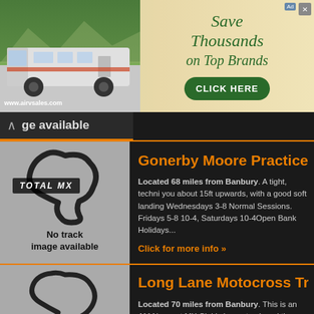[Figure (other): Advertisement banner for www.airvsales.com - Save Thousands on Top Brands with CLICK HERE button]
ge available
Gonerby Moore Practice Tr
Located 68 miles from Banbury. A tight, techni you about 15ft upwards, with a good soft landing Wednesdays 3-8 Normal Sessions. Fridays 5-8 10-4, Saturdays 10-4Open Bank Holidays...
Click for more info »
[Figure (illustration): Total MX track layout illustration with 'No track image available' text on grey background]
Long Lane Motocross Trac
Located 70 miles from Banbury. This is an AM Newport MX Club's home track and they hold 6